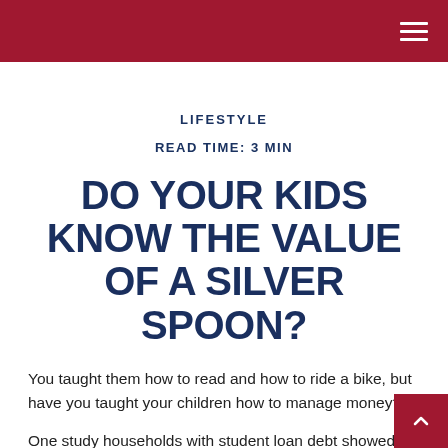LIFESTYLE
READ TIME: 3 MIN
DO YOUR KIDS KNOW THE VALUE OF A SILVER SPOON?
You taught them how to read and how to ride a bike, but have you taught your children how to manage money?
One study households with student loan debt showed that the average amount owed was $47,671.¹ And more than